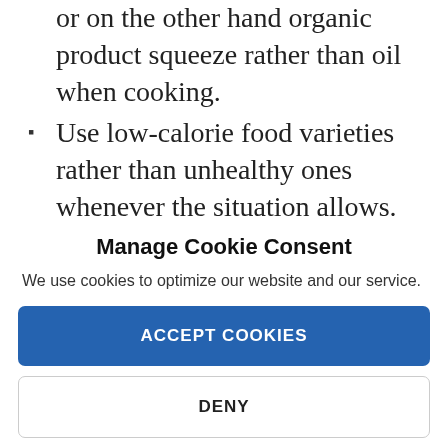or on the other hand organic product squeeze rather than oil when cooking.
Use low-calorie food varieties rather than unhealthy ones whenever the situation allows.
Cook just what you need for one dinner (don't make extras).
If you do make additional parts, set them aside when they are prepared so you can save them for different dinners. Store the extras in compartments
Manage Cookie Consent
We use cookies to optimize our website and our service.
ACCEPT COOKIES
DENY